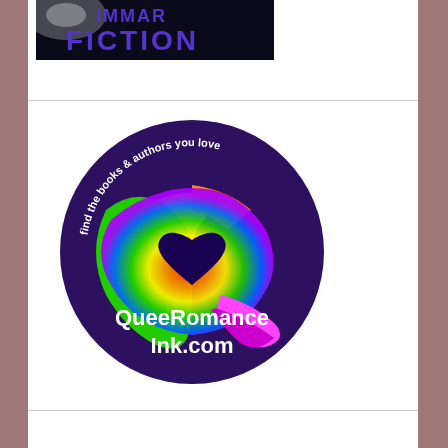[Figure (logo): Science fiction / fantasy logo banner with purple text 'FICTION' on dark space background]
[Figure (logo): QueeRomanceInk.com circular logo with rainbow Q shape, dark purple background, heart shape, and text 'find the books & authors you love' around the top arc and 'QueeRomance Ink.com' in white bold text at center]